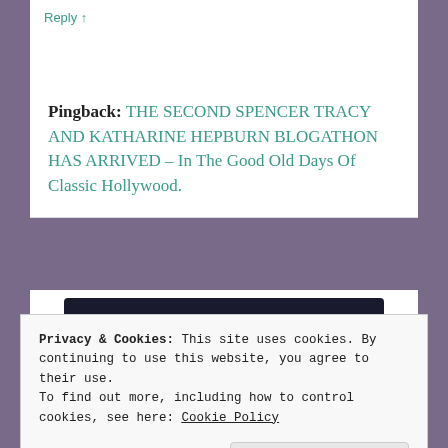Reply ↑
Pingback: THE SECOND SPENCER TRACY AND KATHARINE HEPBURN BLOGATHON HAS ARRIVED – In The Good Old Days Of Classic Hollywood.
[Figure (infographic): Dark navy advertisement banner with teal text reading 'Launch your online course with WordPress' and a teal 'Learn More' button]
Privacy & Cookies: This site uses cookies. By continuing to use this website, you agree to their use.
To find out more, including how to control cookies, see here: Cookie Policy
Close and accept